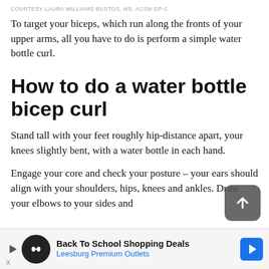COURTESY LAURA WILLIAMS BUSTOS, MS, ACSM EP-C
To target your biceps, which run along the fronts of your upper arms, all you have to do is perform a simple water bottle curl.
How to do a water bottle bicep curl
Stand tall with your feet roughly hip-distance apart, your knees slightly bent, with a water bottle in each hand.
Engage your core and check your posture – your ears should align with your shoulders, hips, knees and ankles. Draw your elbows to your sides and
[Figure (other): Advertisement banner: Back To School Shopping Deals – Leesburg Premium Outlets, with circular logo and blue navigation badge]